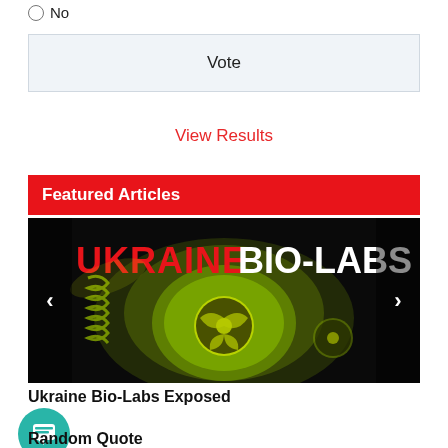No
Vote
View Results
Featured Articles
[Figure (photo): Ukraine Bio-Labs article image showing a person in a yellow biohazard gas mask with text 'UKRAINE BIO-LABS' in red and white letters on a dark background]
Ukraine Bio-Labs Exposed
[Figure (illustration): Teal circular chat/message icon]
Random Quote